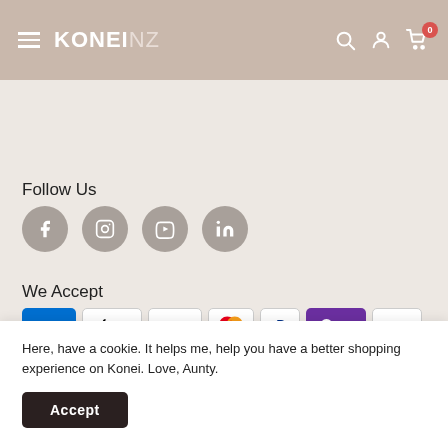KONEINZ
Follow Us
[Figure (infographic): Four social media icon circles: Facebook (f), Instagram, YouTube, LinkedIn]
We Accept
[Figure (infographic): Payment method icons: AMEX, Apple Pay, G Pay, Mastercard, PayPal, OPay, VISA]
Here, have a cookie. It helps me, help you have a better shopping experience on Konei. Love, Aunty.
Accept